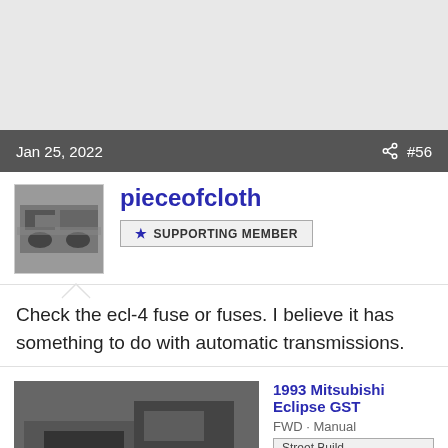Jan 25, 2022  #56
[Figure (photo): User avatar showing an engine bay photo]
pieceofcloth
★ SUPPORTING MEMBER
Check the ecl-4 fuse or fuses. I believe it has something to do with automatic transmissions.
[Figure (photo): 1993 Mitsubishi Eclipse GST car image]
1993 Mitsubishi Eclipse GST
FWD · Manual
Street Build